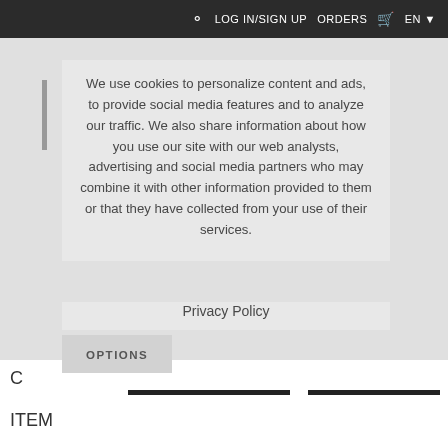LOG IN/SIGN UP   ORDERS   EN
We use cookies to personalize content and ads, to provide social media features and to analyze our traffic. We also share information about how you use our site with our web analysts, advertising and social media partners who may combine it with other information provided to them or that they have collected from your use of their services.
Privacy Policy
OPTIONS
C
ITEM